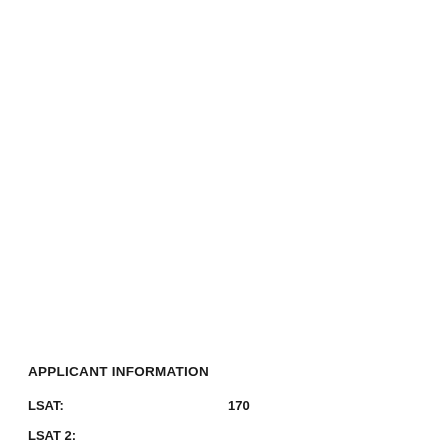APPLICANT INFORMATION
LSAT:    170
LSAT 2: